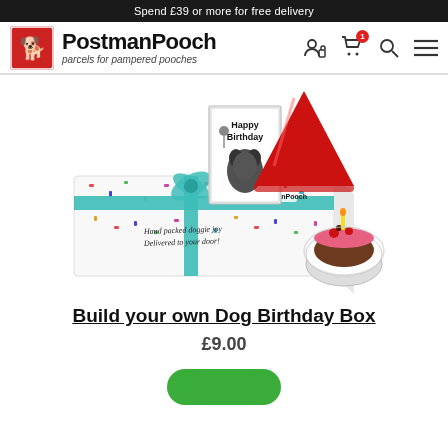Spend £39 or more for free delivery
[Figure (logo): PostmanPooch logo with dog icon and tagline 'parcels for pampered pooches']
[Figure (photo): A PostmanPooch gift box with confetti pattern, Happy Birthday card, red party hat cone, and a small dog birthday cake with candle]
Build your own Dog Birthday Box
£9.00